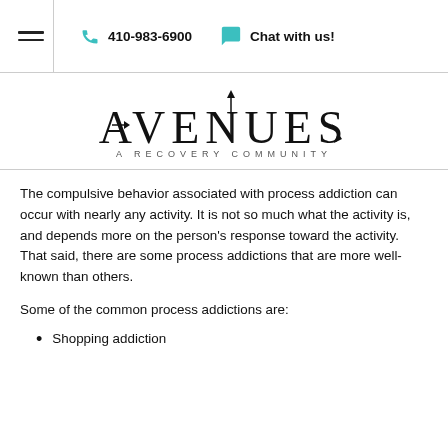410-983-6900  Chat with us!
[Figure (logo): Avenues A Recovery Community logo with arrow motifs integrated into the letters]
The compulsive behavior associated with process addiction can occur with nearly any activity. It is not so much what the activity is, and depends more on the person's response toward the activity. That said, there are some process addictions that are more well-known than others.
Some of the common process addictions are:
Shopping addiction